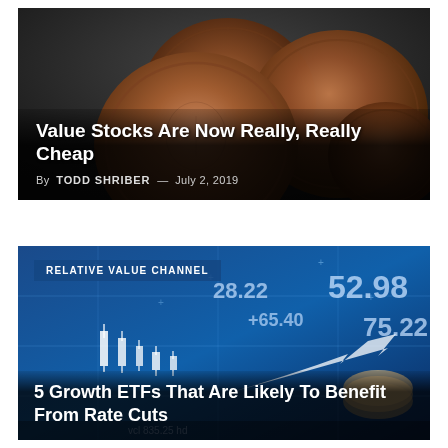[Figure (photo): Article card with penny coins photo background, dark gradient overlay]
Value Stocks Are Now Really, Really Cheap
By TODD SHRIBER — July 2, 2019
[Figure (photo): Article card with stock market trading screen background in blue tones, showing candlestick chart, numbers like 28.22, 52.98, 65.40, 75.22, with upward arrow. Badge reading RELATIVE VALUE CHANNEL.]
5 Growth ETFs That Are Likely To Benefit From Rate Cuts